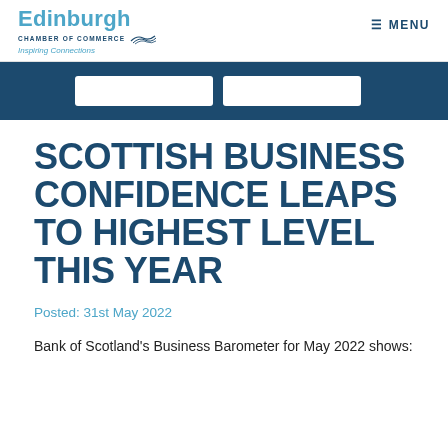Edinburgh Chamber of Commerce — Inspiring Connections | MENU
SCOTTISH BUSINESS CONFIDENCE LEAPS TO HIGHEST LEVEL THIS YEAR
Posted: 31st May 2022
Bank of Scotland's Business Barometer for May 2022 shows: